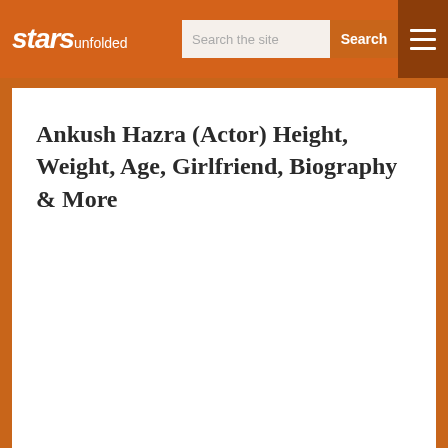stars unfolded
Ankush Hazra (Actor) Height, Weight, Age, Girlfriend, Biography & More